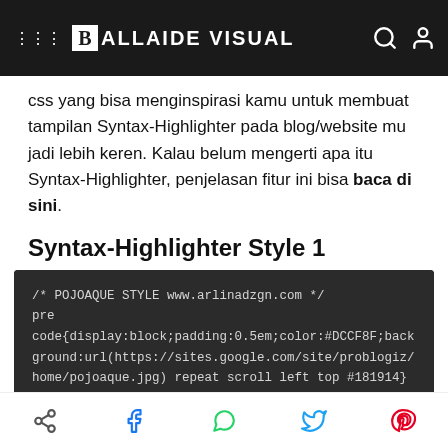BALLAIDE VISUAL
css yang bisa menginspirasi kamu untuk membuat tampilan Syntax-Highlighter pada blog/website mu jadi lebih keren. Kalau belum mengerti apa itu Syntax-Highlighter, penjelasan fitur ini bisa baca di sini.
Syntax-Highlighter Style 1
[Figure (screenshot): Dark-themed code block showing CSS syntax-highlighter code starting with /* POJOAQUE STYLE www.arlinadzgn.com */ pre code{display:block;padding:0.5em;color:#DCCF8F;background:url(https://sites.google.com/site/problogiz/home/pojoaque.jpg) repeat scroll left top #181914} pre .comment,pre .template_comment,pre .diff]
Share icons: share, facebook, whatsapp, twitter, pinterest